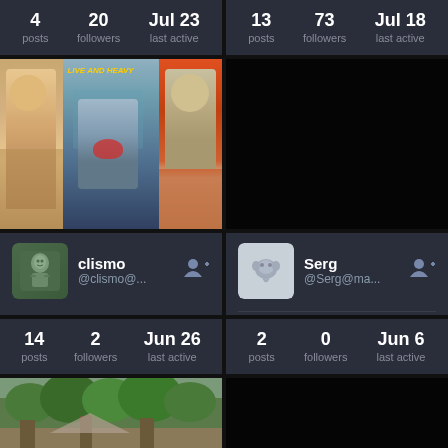4 posts  20 followers  Jul 23 last active
13 posts  73 followers  Jul 18 last active
[Figure (photo): Album covers collage: three record album covers side by side including 'Live and Heavy' text in yellow, featuring illustrated faces with open mouths]
[Figure (photo): Dark/black panel]
clismo @clismo@...
Serg @Serg@ma...  Dog lover, Lego enthusiast, f...
14 posts  2 followers  Jun 26 last active
2 posts  0 followers  Jun 6 last active
[Figure (photo): Nature photo with trees and foliage]
[Figure (photo): Dark/black panel]